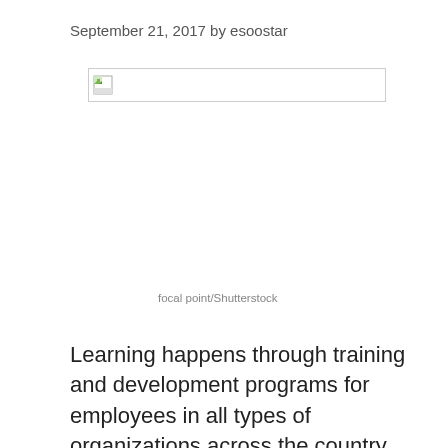September 21, 2017 by esoostar
[Figure (photo): Broken/missing image placeholder with a small image icon]
focal point/Shutterstock
Learning happens through training and development programs for employees in all types of organizations across the country. Some programs offer a wide variety of options for employee development, while others may be in